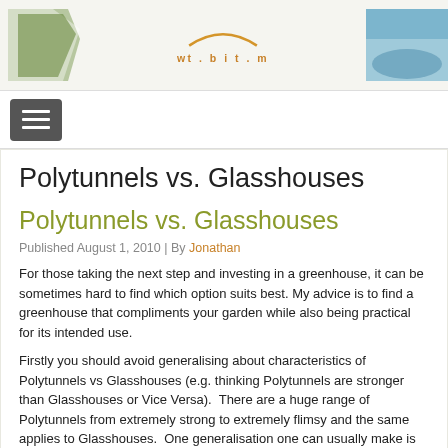wt.bit.m [website header banner with images]
[Figure (screenshot): Navigation menu button (hamburger icon) — three horizontal white lines on dark grey rounded rectangle background]
Polytunnels vs. Glasshouses
Polytunnels vs. Glasshouses
Published August 1, 2010 | By Jonathan
For those taking the next step and investing in a greenhouse, it can be sometimes hard to find which option suits best. My advice is to find a greenhouse that compliments your garden while also being practical for its intended use.
Firstly you should avoid generalising about characteristics of Polytunnels vs Glasshouses (e.g. thinking Polytunnels are stronger than Glasshouses or Vice Versa).  There are a huge range of Polytunnels from extremely strong to extremely flimsy and the same applies to Glasshouses.  One generalisation one can usually make is